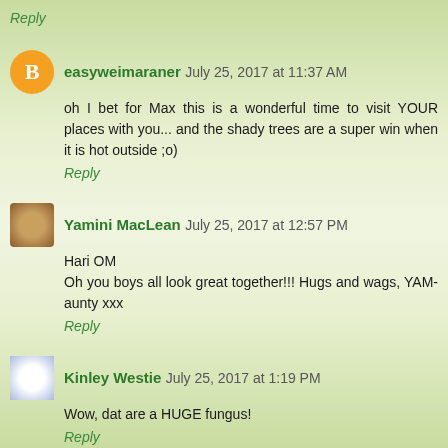Reply
easyweimaraner  July 25, 2017 at 11:37 AM
oh I bet for Max this is a wonderful time to visit YOUR places with you... and the shady trees are a super win when it is hot outside ;o)
Reply
Yamini MacLean  July 25, 2017 at 12:57 PM
Hari OM
Oh you boys all look great together!!! Hugs and wags, YAM-aunty xxx
Reply
Kinley Westie  July 25, 2017 at 1:19 PM
Wow, dat are a HUGE fungus!
Reply